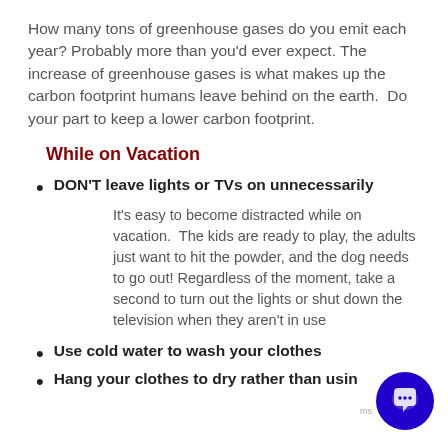How many tons of greenhouse gases do you emit each year? Probably more than you'd ever expect. The increase of greenhouse gases is what makes up the carbon footprint humans leave behind on the earth.  Do your part to keep a lower carbon footprint.
While on Vacation
DON'T leave lights or TVs on unnecessarily
It's easy to become distracted while on vacation.  The kids are ready to play, the adults just want to hit the powder, and the dog needs to go out! Regardless of the moment, take a second to turn out the lights or shut down the television when they aren't in use
Use cold water to wash your clothes
Hang your clothes to dry rather than using a dryer